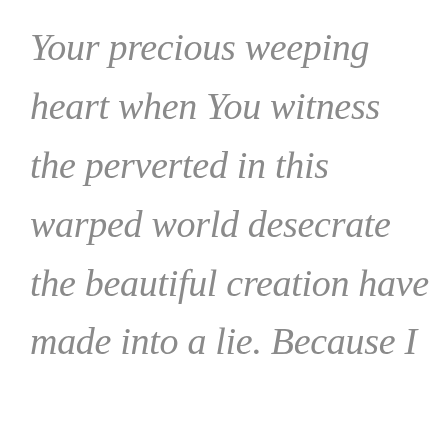Your precious weeping heart when You witness the perverted in this warped world desecrate the beautiful creation have made into a lie. Because I